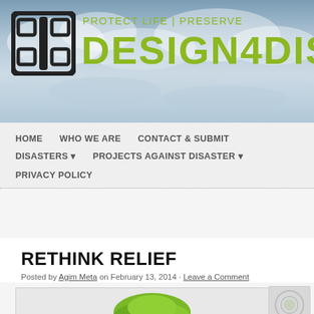[Figure (logo): Design4Disaster website header banner with logo (grid of squares in a frame), tagline 'PROTECT LIFE | PRESERVE' and site name 'DESIGN4DIS' in olive green on cloudy sky background]
HOME   WHO WE ARE   CONTACT & SUBMIT   DISASTERS ▾   PROJECTS AGAINST DISASTER ▾   PRIVACY POLICY
RETHINK RELIEF
Posted by Agim Meta on February 13, 2014 · Leave a Comment
[Figure (photo): Article image showing a green tree/plant and a circular logo/watermark on the right side]